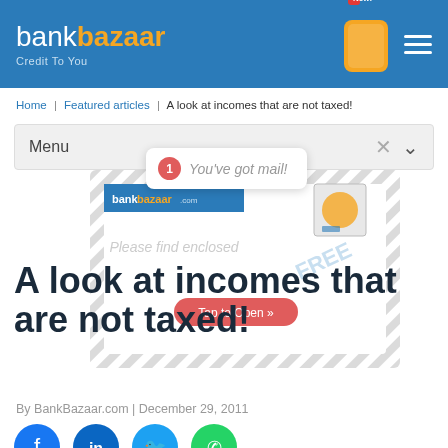bankbazaar Credit To You
Home | Featured articles | A look at incomes that are not taxed!
Menu
[Figure (screenshot): Notification popup saying 'You've got mail!' with a red badge showing '1', and a mail envelope overlay with BankBazaar branding, 'Please find enclosed', 'FREE', and 'Tap to Open' button]
A look at incomes that are not taxed!
By BankBazaar.com | December 29, 2011
[Figure (infographic): Social sharing icons: Facebook (blue), LinkedIn (blue), Twitter (light blue), WhatsApp (green)]